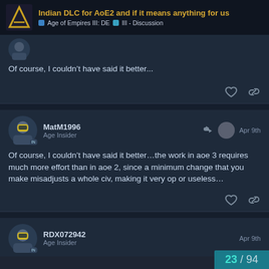Indian DLC for AoE2 and if it means anything for us | Age of Empires III: DE > III - Discussion
Of course, I couldn't have said it better...
MatM1996
Age Insider
Apr 9th
Of course, I couldn't have said it better…the work in aoe 3 requires much more effort than in aoe 2, since a minimum change that you make misadjusts a whole civ, making it very op or useless…
RDX072942
Age Insider
Apr 9th
23 / 94